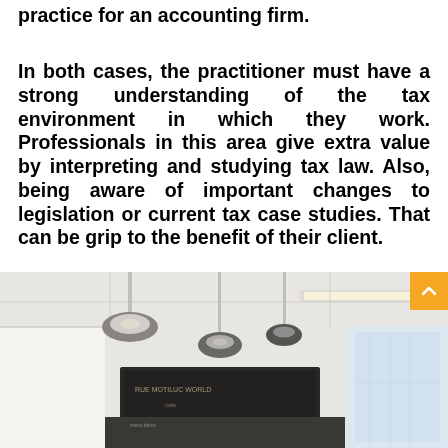practice for an accounting firm.
In both cases, the practitioner must have a strong understanding of the tax environment in which they work. Professionals in this area give extra value by interpreting and studying tax law. Also, being aware of important changes to legislation or current tax case studies. That can be grip to the benefit of their client.
[Figure (photo): Office interior with industrial pendant lights hanging from the ceiling, a whiteboard or chalkboard visible in the background, and modern open workspace.]